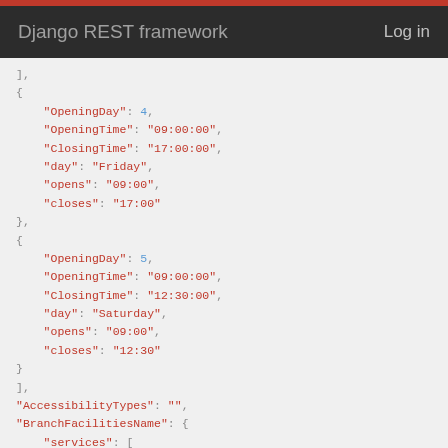Django REST framework   Log in
JSON code block showing opening hours and branch facilities data